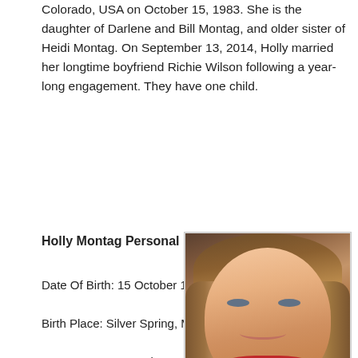Colorado, USA on October 15, 1983. She is the daughter of Darlene and Bill Montag, and older sister of Heidi Montag. On September 13, 2014, Holly married her longtime boyfriend Richie Wilson following a year-long engagement. They have one child.
Holly Montag Personal Details:
Date Of Birth: 15 October 1983
Birth Place: Silver Spring, Maryland, USA
Home Town: Crested Butte, Colorado, USA
Birth Name: Holly Montag
Nickname: Holly
Zodiac Sign: Libra
Occupation: Television personality, Actress,
[Figure (photo): Portrait photo of Holly Montag, a blonde woman wearing a red top, smiling at the camera against a dark background]